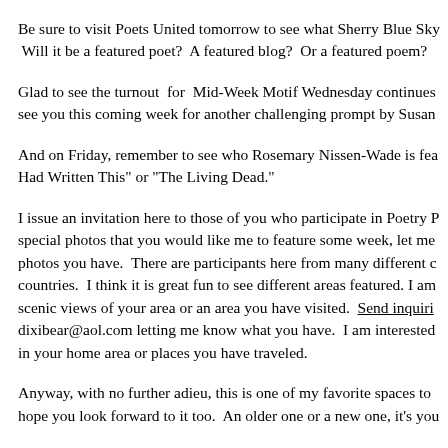Be sure to visit Poets United tomorrow to see what Sherry Blue Sky  Will it be a featured poet?  A featured blog?  Or a featured poem?
Glad to see the turnout  for  Mid-Week Motif Wednesday continues see you this coming week for another challenging prompt by Susan
And on Friday, remember to see who Rosemary Nissen-Wade is fea Had Written This" or "The Living Dead."
I issue an invitation here to those of you who participate in Poetry P special photos that you would like me to feature some week, let me photos you have.  There are participants here from many different c countries.  I think it is great fun to see different areas featured. I am scenic views of your area or an area you have visited.  Send inquiri dixibear@aol.com letting me know what you have.  I am interested in your home area or places you have traveled.
Anyway, with no further adieu, this is one of my favorite spaces to hope you look forward to it too.  An older one or a new one, it's you